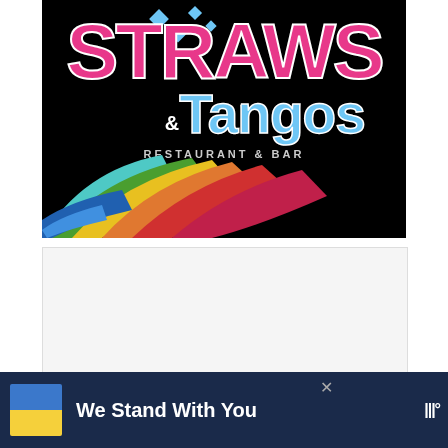[Figure (logo): Straws & Tangos Restaurant & Bar logo on black background with rainbow ribbons and blue diamond decorations. 'Straws' in large pink text, 'Tangos' in blue text, 'RESTAURANT & BAR' subtitle below.]
[Figure (screenshot): Gray/white empty content area placeholder for a webpage listing or content block]
482
[Figure (infographic): Advertisement banner with Ukrainian flag (blue and yellow), text 'We Stand With You', close button X, and weather service logo]